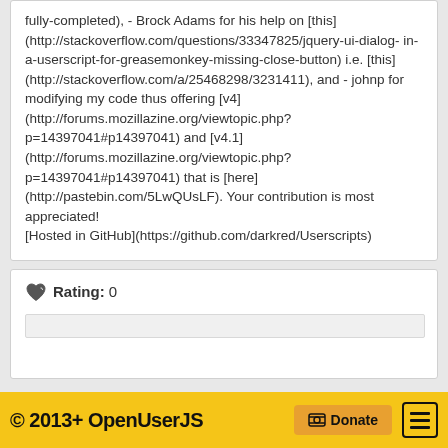fully-completed), - Brock Adams for his help on [this](http://stackoverflow.com/questions/33347825/jquery-ui-dialog-in-a-userscript-for-greasemonkey-missing-close-button) i.e. [this](http://stackoverflow.com/a/25468298/3231411), and - johnp for modifying my code thus offering [v4](http://forums.mozillazine.org/viewtopic.php?p=14397041#p14397041) and [v4.1](http://forums.mozillazine.org/viewtopic.php?p=14397041#p14397041) that is [here](http://pastebin.com/5LwQUsLF). Your contribution is most appreciated!
[Hosted in GitHub](https://github.com/darkred/Userscripts)
Rating: 0
© 2013+ OpenUserJS  Donate